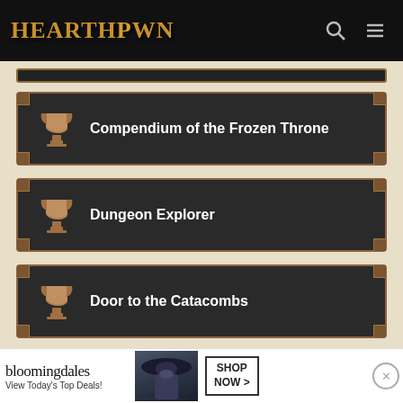HEARTHPWN
Compendium of the Frozen Throne
Dungeon Explorer
Door to the Catacombs
Compendium of Candles
[Figure (screenshot): Bloomingdale's advertisement banner with model wearing hat, 'View Today's Top Deals!' tagline, and SHOP NOW button]